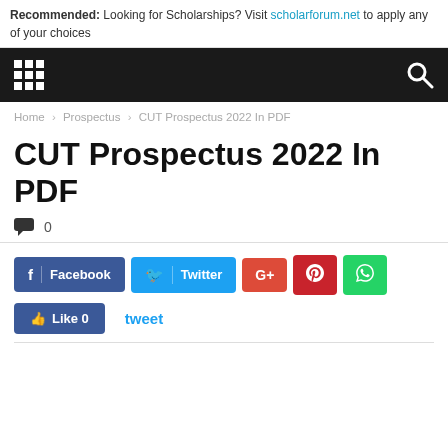Recommended: Looking for Scholarships? Visit scholarforum.net to apply any of your choices
[Figure (screenshot): Black navigation bar with 9-dot grid icon on the left and search icon on the right]
Home › Prospectus › CUT Prospectus 2022 In PDF
CUT Prospectus 2022 In PDF
💬 0
[Figure (screenshot): Social share buttons: Facebook, Twitter, Google+, Pinterest, WhatsApp, Like 0, tweet]